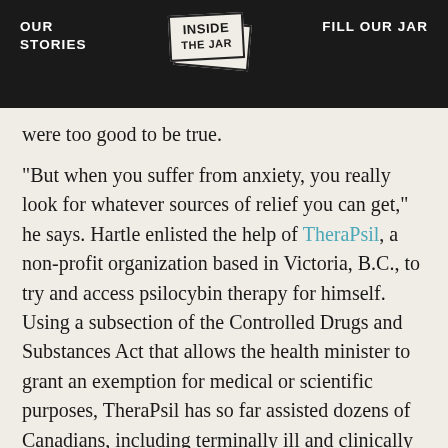OUR STORIES   INSIDE THE JAR   FILL OUR JAR
were too good to be true.
“But when you suffer from anxiety, you really look for whatever sources of relief you can get,” he says. Hartle enlisted the help of TheraPsil, a non-profit organization based in Victoria, B.C., to try and access psilocybin therapy for himself. Using a subsection of the Controlled Drugs and Substances Act that allows the health minister to grant an exemption for medical or scientific purposes, TheraPsil has so far assisted dozens of Canadians, including terminally ill and clinically depressed patients, as well as doctors and therapists, in the application process